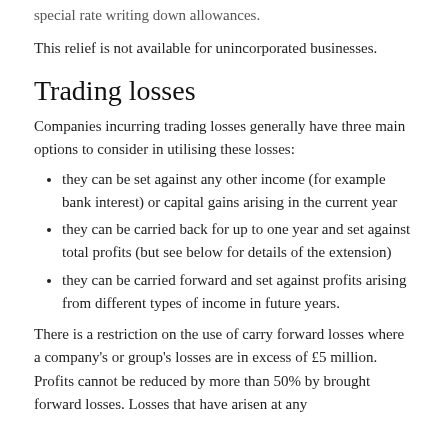special rate writing down allowances.
This relief is not available for unincorporated businesses.
Trading losses
Companies incurring trading losses generally have three main options to consider in utilising these losses:
they can be set against any other income (for example bank interest) or capital gains arising in the current year
they can be carried back for up to one year and set against total profits (but see below for details of the extension)
they can be carried forward and set against profits arising from different types of income in future years.
There is a restriction on the use of carry forward losses where a company's or group's losses are in excess of £5 million. Profits cannot be reduced by more than 50% by brought forward losses. Losses that have arisen at any